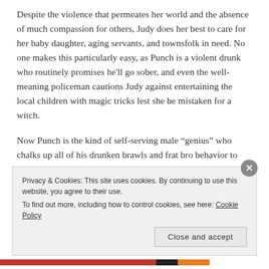Despite the violence that permeates her world and the absence of much compassion for others, Judy does her best to care for her baby daughter, aging servants, and townsfolk in need. No one makes this particularly easy, as Punch is a violent drunk who routinely promises he'll go sober, and even the well-meaning policeman cautions Judy against entertaining the local children with magic tricks lest she be mistaken for a witch.
Now Punch is the kind of self-serving male “genius” who chalks up all of his drunken brawls and frat bro behavior to being a tortured artist. He can’t possibly be expected to
Privacy & Cookies: This site uses cookies. By continuing to use this website, you agree to their use.
To find out more, including how to control cookies, see here: Cookie Policy
Close and accept